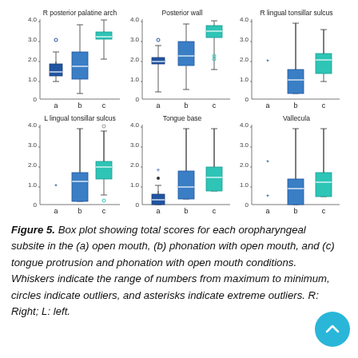[Figure (other): 3x2 grid of box plots showing observation scores for oropharyngeal subsites (R posterior palatine arch, Posterior wall, R lingual tonsillar sulcus, L lingual tonsillar sulcus, Tongue base, Vallecula) across conditions a, b, c]
Figure 5. Box plot showing total scores for each oropharyngeal subsite in the (a) open mouth, (b) phonation with open mouth, and (c) tongue protrusion and phonation with open mouth conditions. Whiskers indicate the range of numbers from maximum to minimum, circles indicate outliers, and asterisks indicate extreme outliers. R: Right; L: left.